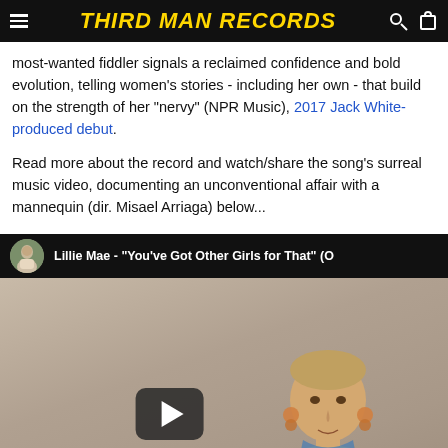Third Man Records
most-wanted fiddler signals a reclaimed confidence and bold evolution, telling women's stories - including her own - that build on the strength of her “nervy” (NPR Music), 2017 Jack White-produced debut.
Read more about the record and watch/share the song's surreal music video, documenting an unconventional affair with a mannequin (dir. Misael Arriaga) below...
[Figure (screenshot): YouTube video embed showing Lillie Mae - 'You've Got Other Girls for That' with a play button overlay. The thumbnail shows a woman in a yellow top with hoop earrings against a muted background.]